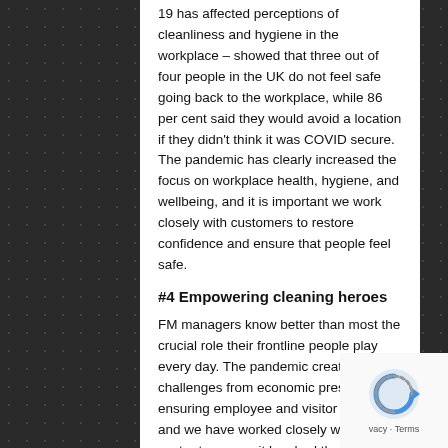19 has affected perceptions of cleanliness and hygiene in the workplace – showed that three out of four people in the UK do not feel safe going back to the workplace, while 86 per cent said they would avoid a location if they didn't think it was COVID secure. The pandemic has clearly increased the focus on workplace health, hygiene, and wellbeing, and it is important we work closely with customers to restore confidence and ensure that people feel safe.
#4 Empowering cleaning heroes
FM managers know better than most the crucial role their frontline people play every day. The pandemic created many challenges from economic pressures to ensuring employee and visitor safety, and we have worked closely with the sector to ensure it has had the best advice and access to the best products.
We're proud to have launched scholarships for 10,000 cleaning professionals to become certified in infectious disease control measures, which is a